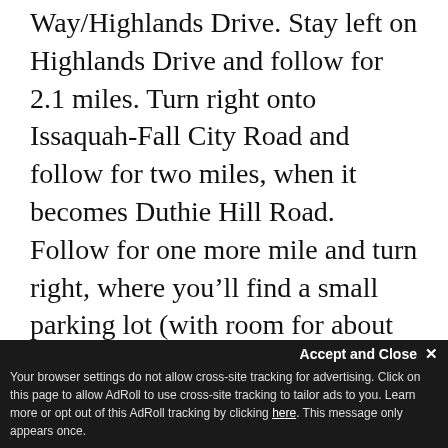Way/Highlands Drive. Stay left on Highlands Drive and follow for 2.1 miles. Turn right onto Issaquah–Fall City Road and follow for two miles, when it becomes Duthie Hill Road. Follow for one more mile and turn right, where you'll find a small parking lot (with room for about 30 cars) next to the maintenance shop.
0 Comments
Sort by Newest
Add a comment...
Facebook Comments Plugin
Accept and Close ×
Your browser settings do not allow cross-site tracking for advertising. Click on this page to allow AdRoll to use cross-site tracking to tailor ads to you. Learn more or opt out of this AdRoll tracking by clicking here. This message only appears once.